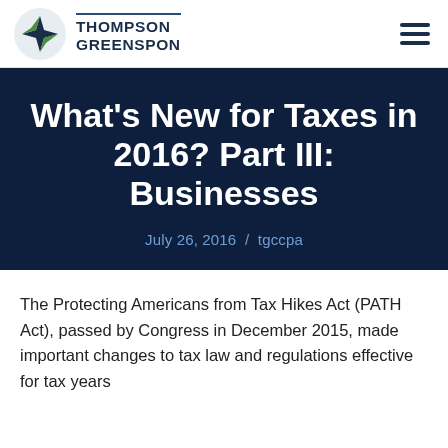THOMPSON GREENSPON
What’s New for Taxes in 2016? Part III: Businesses
July 26, 2016  /  tgccpa
The Protecting Americans from Tax Hikes Act (PATH Act), passed by Congress in December 2015, made important changes to tax law and regulations effective for tax years